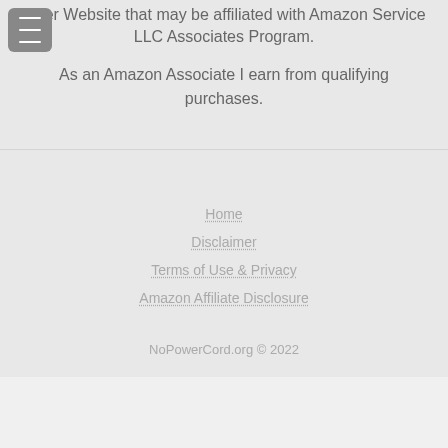other Website that may be affiliated with Amazon Service LLC Associates Program.
As an Amazon Associate I earn from qualifying purchases.
Home
Disclaimer
Terms of Use & Privacy
Amazon Affiliate Disclosure
NoPowerCord.org © 2022